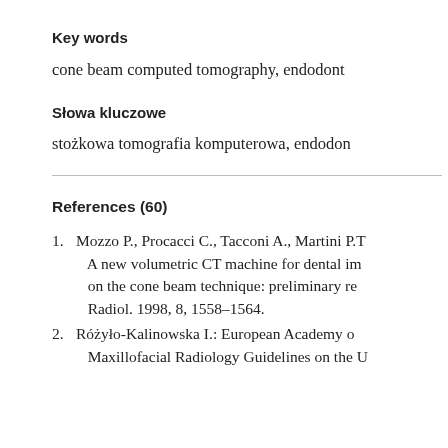Key words
cone beam computed tomography, endodont
Słowa kluczowe
stożkowa tomografia komputerowa, endodon
References (60)
1. Mozzo P., Procacci C., Tacconi A., Martini P.T. A new volumetric CT machine for dental imaging based on the cone beam technique: preliminary results. Eur. Radiol. 1998, 8, 1558–1564.
2. Różyło-Kalinowska I.: European Academy of Dental and Maxillofacial Radiology Guidelines on the U